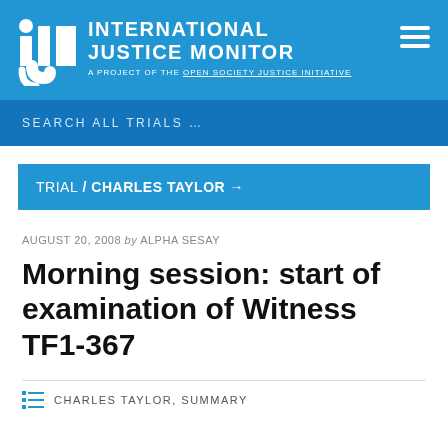[Figure (logo): International Justice Monitor logo with IJM letters and tagline 'A project of the Open Society Justice Initiative']
SEARCH ALL TRIALS ...
TRIAL / CHARLES TAYLOR →
AUGUST 20, 2008 by ALPHA SESAY
Morning session: start of examination of Witness TF1-367
CHARLES TAYLOR, SUMMARY